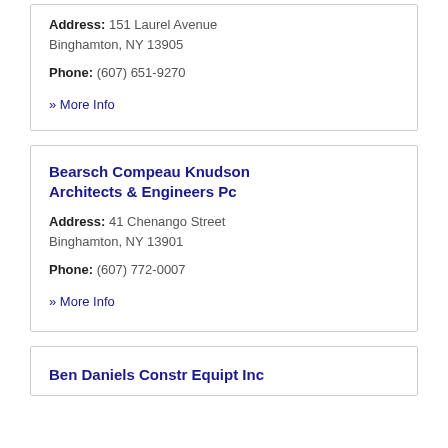Address: 151 Laurel Avenue Binghamton, NY 13905
Phone: (607) 651-9270
» More Info
Bearsch Compeau Knudson Architects & Engineers Pc
Address: 41 Chenango Street Binghamton, NY 13901
Phone: (607) 772-0007
» More Info
Ben Daniels Constr Equipt Inc